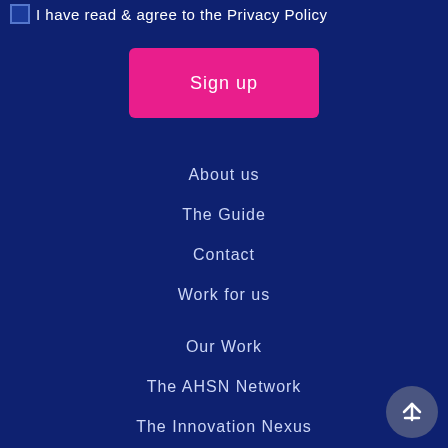I have read & agree to the Privacy Policy
Sign up
About us
The Guide
Contact
Work for us
Our Work
The AHSN Network
The Innovation Nexus
News
[Figure (illustration): Back to top arrow button in grey circle]